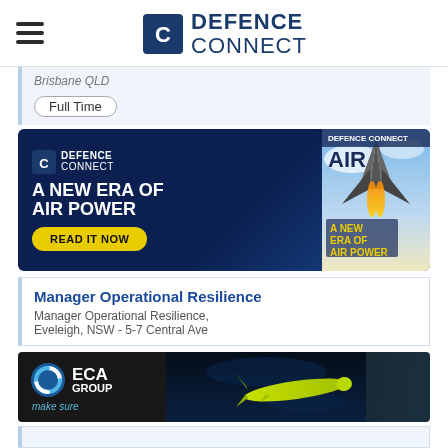Defence Connect
Brisbane QLD
Full Time
[Figure (illustration): Defence Connect advertisement banner: dark blue background with Defence Connect logo, text 'A NEW ERA OF AIR POWER', yellow 'READ IT NOW' button, and a magazine cover image showing a fighter jet with title 'AIR - A New Era of Air Power']
Manager Operational Resilience
Manager Operational Resilience, Eveleigh, NSW - 5-7 Central Ave
[Figure (illustration): ECA Group advertisement: dark background with ECA Group logo (blue/white swirl icon), company name 'ECA GROUP', tagline 'make sure', and an image of a yellow underwater drone/torpedo on a dark underwater background]